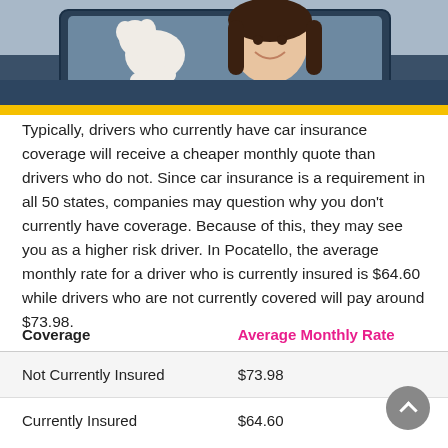[Figure (photo): Photo of a smiling woman with long dark hair leaning out of a car window with a dog beside her]
Typically, drivers who currently have car insurance coverage will receive a cheaper monthly quote than drivers who do not. Since car insurance is a requirement in all 50 states, companies may question why you don't currently have coverage. Because of this, they may see you as a higher risk driver. In Pocatello, the average monthly rate for a driver who is currently insured is $64.60 while drivers who are not currently covered will pay around $73.98.
| Coverage | Average Monthly Rate |
| --- | --- |
| Not Currently Insured | $73.98 |
| Currently Insured | $64.60 |